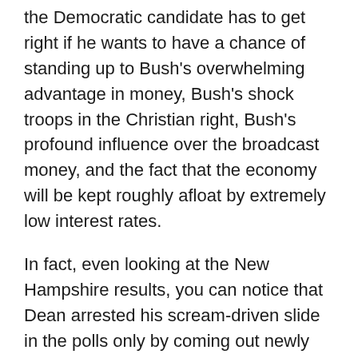in gross terms, Iraq will be the defining issue, the issue the Democratic candidate has to get right if he wants to have a chance of standing up to Bush's overwhelming advantage in money, Bush's shock troops in the Christian right, Bush's profound influence over the broadcast money, and the fact that the economy will be kept roughly afloat by extremely low interest rates.
In fact, even looking at the New Hampshire results, you can notice that Dean arrested his scream-driven slide in the polls only by coming out newly combative and attacking Kerry on his vote for the Iraq resolution.
Kerry seems to have learned the wrong lesson from his two victories. After limbering up to the point where he actually denounced Reagan's illegal war in Central America on a nationally televised debate, his New Hampshire victory speech took just the opposite tone: "In